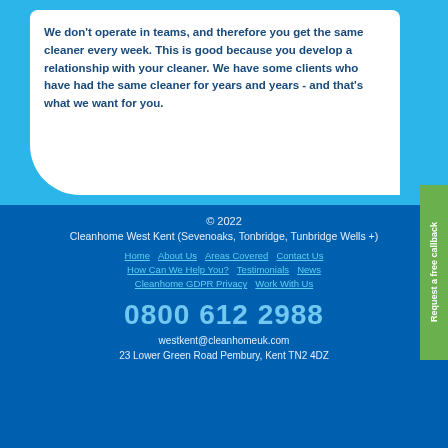We don't operate in teams, and therefore you get the same cleaner every week. This is good because you develop a relationship with your cleaner. We have some clients who have had the same cleaner for years and years - and that's what we want for you.
© 2022
Cleanhome West Kent (Sevenoaks, Tonbridge, Tunbridge Wells +)
Home | About Us | Areas Covered | Contact Us | How Can We Help You? | Testimonials | News | Cleanhome GDPR Privacy | Work With Us
0800 612 2988
westkent@cleanhomeuk.com
23 Lower Green Road Pembury, Kent TN2 4DZ